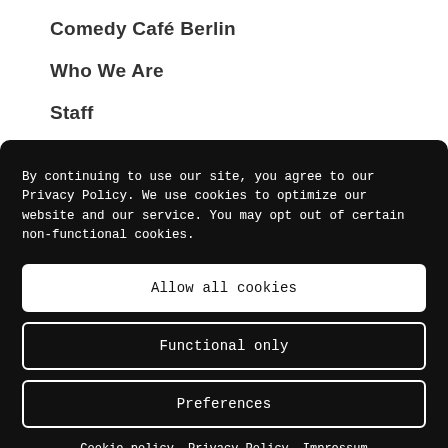Comedy Café Berlin
Who We Are
Staff
Corporate Training
By continuing to use our site, you agree to our Privacy Policy. We use cookies to optimize our website and our service. You may opt out of certain non-functional cookies.
Allow all cookies
Functional only
Preferences
Cookie policy   Privacy Policy   Impressum